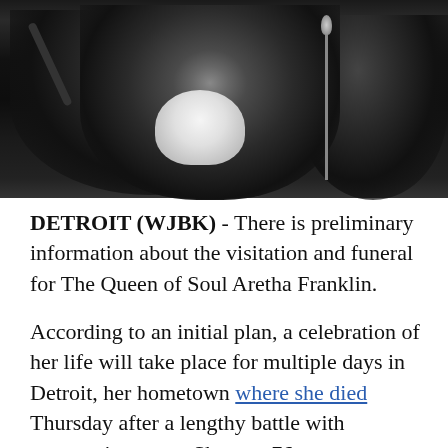[Figure (photo): A photo of Aretha Franklin performing on stage. Two performers visible, one in a white top with arm raised, another at a microphone stand, against a dark black background.]
DETROIT (WJBK) - There is preliminary information about the visitation and funeral for The Queen of Soul Aretha Franklin.
According to an initial plan, a celebration of her life will take place for multiple days in Detroit, her hometown where she died Thursday after a lengthy battle with pancreatic cancer. She was 76.
We are hearing her body will likely lie in repose at the Charles H. Wright Museum for African American History for two days. Then her funeral will be held at